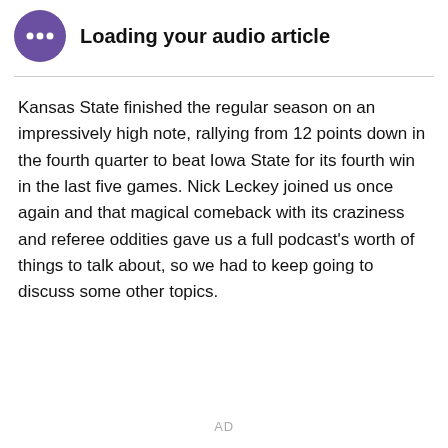[Figure (other): Purple circular audio player icon with three dots]
Loading your audio article
Kansas State finished the regular season on an impressively high note, rallying from 12 points down in the fourth quarter to beat Iowa State for its fourth win in the last five games. Nick Leckey joined us once again and that magical comeback with its craziness and referee oddities gave us a full podcast's worth of things to talk about, so we had to keep going to discuss some other topics.
AD